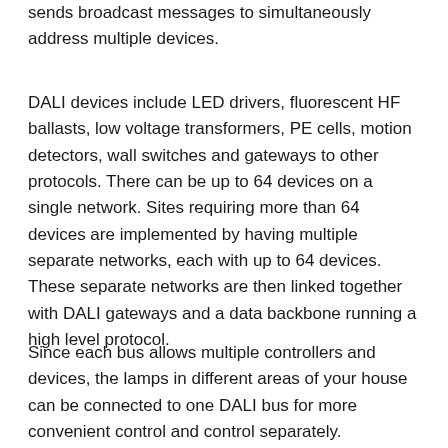sends broadcast messages to simultaneously address multiple devices.
DALI devices include LED drivers, fluorescent HF ballasts, low voltage transformers, PE cells, motion detectors, wall switches and gateways to other protocols. There can be up to 64 devices on a single network. Sites requiring more than 64 devices are implemented by having multiple separate networks, each with up to 64 devices. These separate networks are then linked together with DALI gateways and a data backbone running a high level protocol.
Since each bus allows multiple controllers and devices, the lamps in different areas of your house can be connected to one DALI bus for more convenient control and control separately.